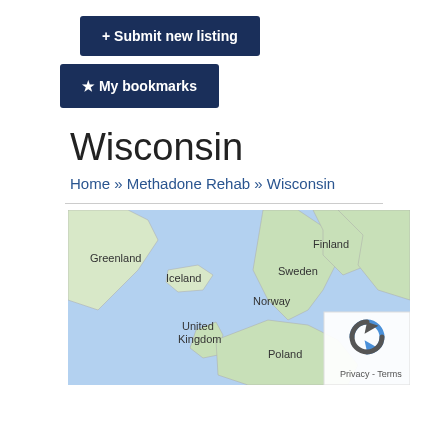[Figure (other): Dark navy blue button labeled '+ Submit new listing']
[Figure (other): Dark navy blue button labeled '★ My bookmarks']
Wisconsin
Home » Methadone Rehab » Wisconsin
[Figure (map): Google Maps showing a world map zoomed out to show Greenland, Iceland, Finland, Sweden, Norway, United Kingdom, Poland and surrounding regions. The map is partially displayed.]